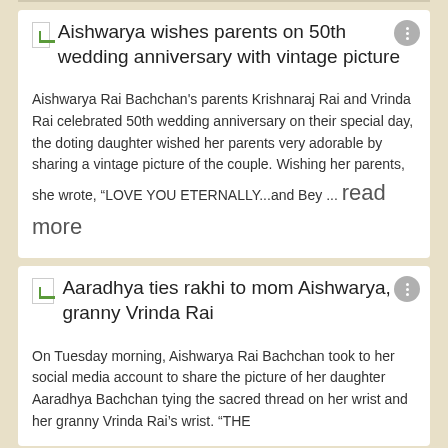Aishwarya wishes parents on 50th wedding anniversary with vintage picture
Aishwarya Rai Bachchan's parents Krishnaraj Rai and Vrinda Rai celebrated 50th wedding anniversary on their special day, the doting daughter wished her parents very adorable by sharing a vintage picture of the couple. Wishing her parents, she wrote, “LOVE YOU ETERNALLY...and Bey ... read more
Aaradhya ties rakhi to mom Aishwarya, granny Vrinda Rai
On Tuesday morning, Aishwarya Rai Bachchan took to her social media account to share the picture of her daughter Aaradhya Bachchan tying the sacred thread on her wrist and her granny Vrinda Rai’s wrist. “THE